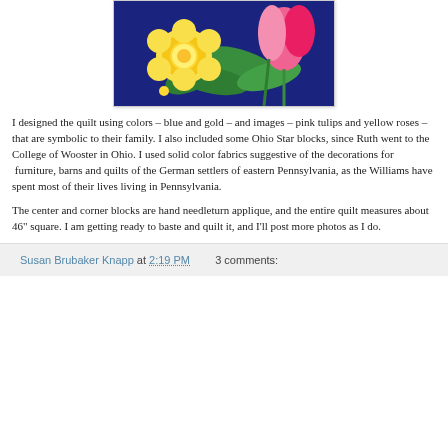[Figure (photo): Close-up photo of a quilt with floral applique design on dark blue background, featuring a yellow rose in center-left and pink tulips on the right, with green leaves]
I designed the quilt using colors – blue and gold – and images – pink tulips and yellow roses – that are symbolic to their family. I also included some Ohio Star blocks, since Ruth went to the College of Wooster in Ohio. I used solid color fabrics suggestive of the decorations for  furniture, barns and quilts of the German settlers of eastern Pennsylvania, as the Williams have spent most of their lives living in Pennsylvania.
The center and corner blocks are hand needleturn applique, and the entire quilt measures about 46" square. I am getting ready to baste and quilt it, and I'll post more photos as I do.
Susan Brubaker Knapp at 2:19 PM    3 comments: